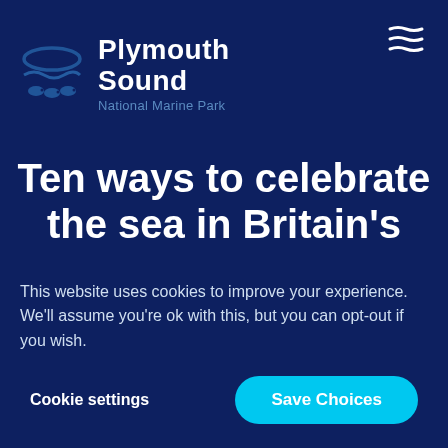[Figure (logo): Plymouth Sound National Marine Park logo with wave/fish icon on dark navy background]
Ten ways to celebrate the sea in Britain's
This website uses cookies to improve your experience. We'll assume you're ok with this, but you can opt-out if you wish.
Cookie settings
Save Choices